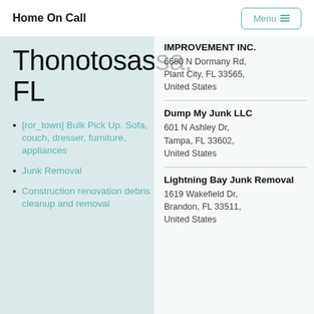Home On Call | Menu
Thonotosassa, FL
[ror_town] Bulk Pick Up. Sofa, couch, dresser, furniture, appliances
Junk Removal
Construction renovation debris cleanup and removal
IMPROVEMENT INC.
6680 N Dormany Rd, Plant City, FL 33565, United States
Dump My Junk LLC
601 N Ashley Dr, Tampa, FL 33602, United States
Lightning Bay Junk Removal
1619 Wakefield Dr, Brandon, FL 33511, United States